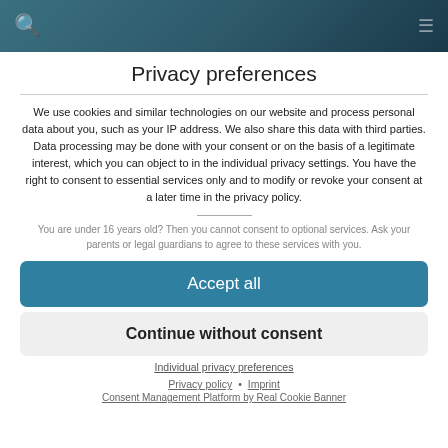[Figure (screenshot): Website header bar with dark teal/blue gradient background, showing a search icon on the left and navigation elements on the right]
Privacy preferences
We use cookies and similar technologies on our website and process personal data about you, such as your IP address. We also share this data with third parties. Data processing may be done with your consent or on the basis of a legitimate interest, which you can object to in the individual privacy settings. You have the right to consent to essential services only and to modify or revoke your consent at a later time in the privacy policy.
You are under 16 years old? Then you cannot consent to optional services. Ask your parents or legal guardians to agree to these services with you.
Accept all
Continue without consent
Individual privacy preferences
Privacy policy • Imprint
Consent Management Platform by Real Cookie Banner